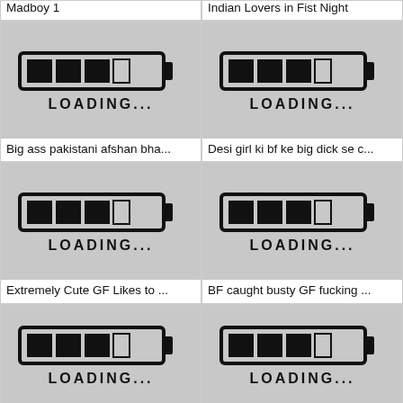Madboy 1
Indian Lovers in Fist Night
[Figure (illustration): Loading placeholder image with battery-style loading bar and text LOADING...]
Big ass pakistani afshan bha...
[Figure (illustration): Loading placeholder image with battery-style loading bar and text LOADING...]
Desi girl ki bf ke big dick se c...
[Figure (illustration): Loading placeholder image with battery-style loading bar and text LOADING...]
Extremely Cute GF Likes to ...
[Figure (illustration): Loading placeholder image with battery-style loading bar and text LOADING...]
BF caught busty GF fucking ...
[Figure (illustration): Loading placeholder image with battery-style loading bar and text LOADING...]
[Figure (illustration): Loading placeholder image with battery-style loading bar and text LOADING...]